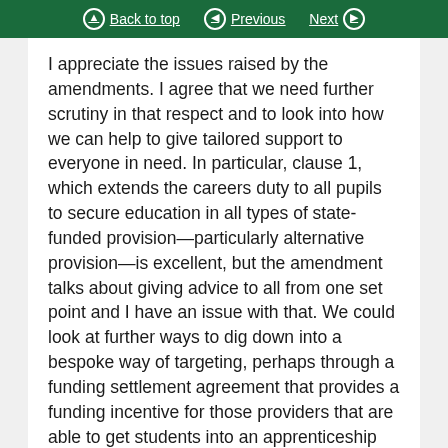Back to top | Previous | Next
I appreciate the issues raised by the amendments. I agree that we need further scrutiny in that respect and to look into how we can help to give tailored support to everyone in need. In particular, clause 1, which extends the careers duty to all pupils to secure education in all types of state-funded provision—particularly alternative provision—is excellent, but the amendment talks about giving advice to all from one set point and I have an issue with that. We could look at further ways to dig down into a bespoke way of targeting, perhaps through a funding settlement agreement that provides a funding incentive for those providers that are able to get students into an apprenticeship successfully. The school could get an economic settlement for